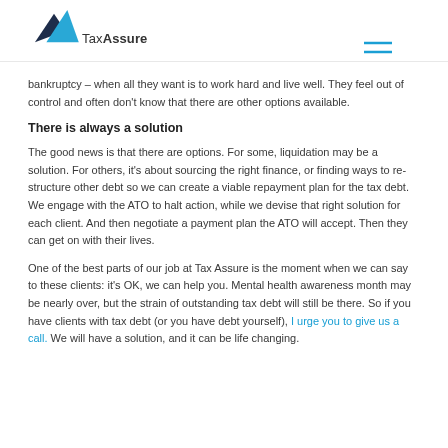TaxAssure
bankruptcy – when all they want is to work hard and live well. They feel out of control and often don't know that there are other options available.
There is always a solution
The good news is that there are options. For some, liquidation may be a solution. For others, it's about sourcing the right finance, or finding ways to re-structure other debt so we can create a viable repayment plan for the tax debt. We engage with the ATO to halt action, while we devise that right solution for each client. And then negotiate a payment plan the ATO will accept. Then they can get on with their lives.
One of the best parts of our job at Tax Assure is the moment when we can say to these clients: it's OK, we can help you. Mental health awareness month may be nearly over, but the strain of outstanding tax debt will still be there. So if you have clients with tax debt (or you have debt yourself), I urge you to give us a call. We will have a solution, and it can be life changing.